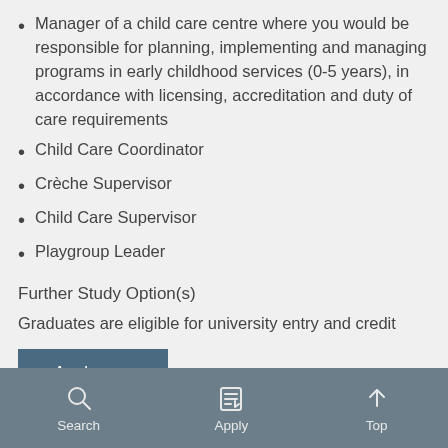Manager of a child care centre where you would be responsible for planning, implementing and managing programs in early childhood services (0-5 years), in accordance with licensing, accreditation and duty of care requirements
Child Care Coordinator
Crèche Supervisor
Child Care Supervisor
Playgroup Leader
Further Study Option(s)
Graduates are eligible for university entry and credit
[Figure (other): Apply now button — dark steel blue rectangular button with white text 'Apply now']
Search   Apply   Top